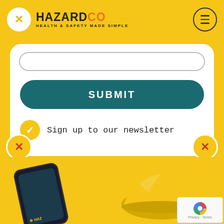[Figure (logo): HazardCo logo with yellow X circle icon and text 'HAZARDCO - HEALTH & SAFETY MADE SIMPLE']
[Figure (other): Hamburger menu icon in circular border]
[Figure (other): Input field outline (partially visible at top of white card)]
SUBMIT
Sign up to our newsletter
By submitting you agree to our Terms & Conditions & Privacy Policy.
[Figure (other): Yellow X circle icons at bottom corners of white card]
[Figure (photo): Bottom section showing a smartphone with HazardCo app and a yellow hard hat on yellow background]
[Figure (other): reCAPTCHA badge with Google logo and 'Privacy - Terms' text]